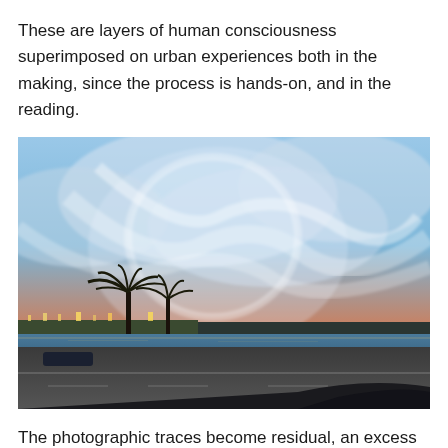These are layers of human consciousness superimposed on urban experiences both in the making, since the process is hands-on, and in the reading.
[Figure (photo): A layered photographic image showing a dramatic sky with blue and orange/pink clouds at sunset, viewed through or combined with a painted or smeared transparent surface. The lower portion shows a waterfront road with palm trees, cars, and city lights reflecting on water. The upper portion has translucent swirling marks overlaying the sky, creating a double-exposure or painted glass effect.]
The photographic traces become residual, an excess that